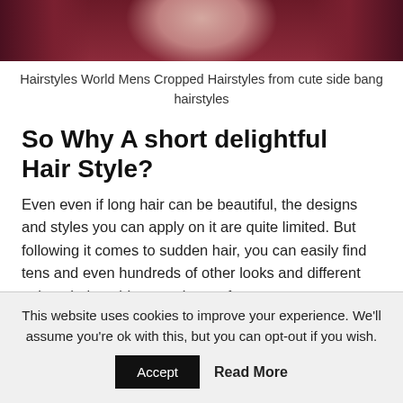[Figure (photo): Top portion of a photo showing a person with dark maroon/burgundy clothing or hair styling, cropped at the top of the page]
Hairstyles World Mens Cropped Hairstyles from cute side bang hairstyles
So Why A short delightful Hair Style?
Even even if long hair can be beautiful, the designs and styles you can apply on it are quite limited. But following it comes to sudden hair, you can easily find tens and even hundreds of other looks and different unique haircut ideas to choose from.
This website uses cookies to improve your experience. We'll assume you're ok with this, but you can opt-out if you wish.
Accept   Read More